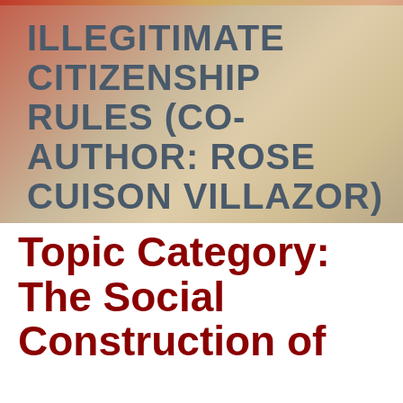[Figure (illustration): Background image with warm tones (red, tan, cream) suggesting a stylized flag or abstract design, with a colored bar at the top]
ILLEGITIMATE CITIZENSHIP RULES (CO-AUTHOR: ROSE CUISON VILLAZOR)
Topic Category: The Social Construction of